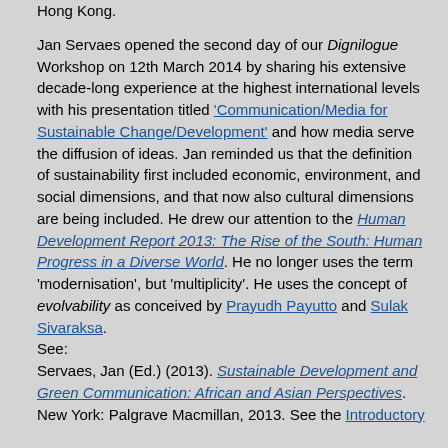Hong Kong. Jan Servaes opened the second day of our Dignilogue Workshop on 12th March 2014 by sharing his extensive decade-long experience at the highest international levels with his presentation titled 'Communication/Media for Sustainable Change/Development' and how media serve the diffusion of ideas. Jan reminded us that the definition of sustainability first included economic, environment, and social dimensions, and that now also cultural dimensions are being included. He drew our attention to the Human Development Report 2013: The Rise of the South: Human Progress in a Diverse World. He no longer uses the term 'modernisation', but 'multiplicity'. He uses the concept of evolvability as conceived by Prayudh Payutto and Sulak Sivaraksa. See: Servaes, Jan (Ed.) (2013). Sustainable Development and Green Communication: African and Asian Perspectives. New York: Palgrave Macmillan, 2013. See the Introductory